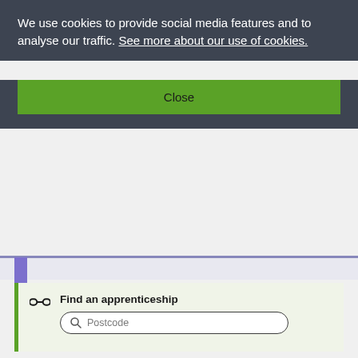We use cookies to provide social media features and to analyse our traffic. See more about our use of cookies.
Close
Find an apprenticeship
Postcode
Find apprenticeship training providers that deliver this standard
Find an end-point assessment